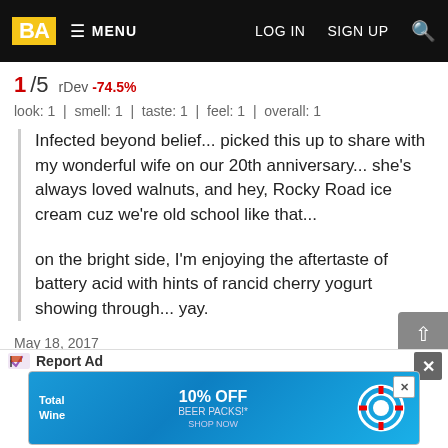BA | MENU | LOG IN | SIGN UP
1/5 rDev -74.5%
look: 1 | smell: 1 | taste: 1 | feel: 1 | overall: 1
Infected beyond belief... picked this up to share with my wonderful wife on our 20th anniversary... she's always loved walnuts, and hey, Rocky Road ice cream cuz we're old school like that...

on the bright side, I'm enjoying the aftertaste of battery acid with hints of rancid cherry yogurt showing through... yay.
May 18, 2017
Rated: 3.75 by oriolesfan4 from Maryland
May 16, 2017
Report Ad